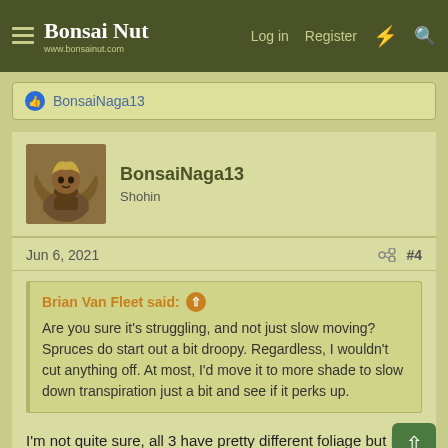Bonsai Nut — www.bonsainut.com — Log in  Register
BonsaiNaga13
BonsaiNaga13
Shohin
Jun 6, 2021  #4
Brian Van Fleet said: ↑

Are you sure it's struggling, and not just slow moving? Spruces do start out a bit droopy. Regardless, I wouldn't cut anything off. At most, I'd move it to more shade to slow down transpiration just a bit and see if it perks up.
I'm not quite sure, all 3 have pretty different foliage but I have moved it into shade to be on the safe side. Thanks for the insight.